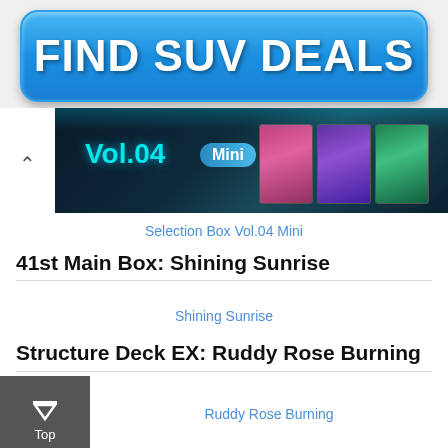[Figure (illustration): Blue rounded rectangle advertisement button with bold white text 'FIND SUV DEALS']
[Figure (screenshot): Yu-Gi-Oh Duel Links Selection Box Vol.04 Mini card pack banner image showing card thumbnails]
Selection Box Vol.04 Mini
41st Main Box: Shining Sunrise
Shining Sunrise
Structure Deck EX: Ruddy Rose Burning
Ruddy Rose Burning
KC G
Camp
[Figure (advertisement): Advertisement showing HC logo on yellow background with text 'View store hours, get directions, or call your salon!' and blue diamond directional arrow icon]